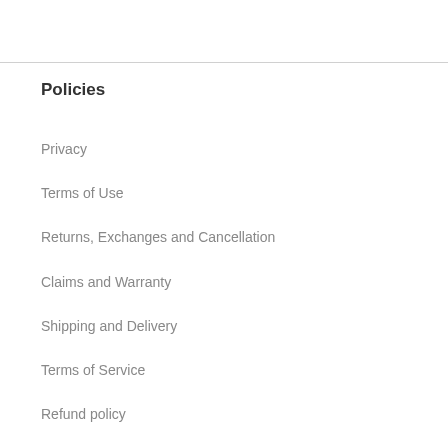Policies
Privacy
Terms of Use
Returns, Exchanges and Cancellation
Claims and Warranty
Shipping and Delivery
Terms of Service
Refund policy